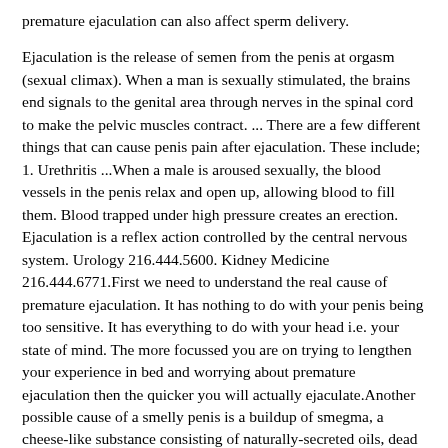premature ejaculation can also affect sperm delivery.
Ejaculation is the release of semen from the penis at orgasm (sexual climax). When a man is sexually stimulated, the brains end signals to the genital area through nerves in the spinal cord to make the pelvic muscles contract. ... There are a few different things that can cause penis pain after ejaculation. These include; 1. Urethritis ...When a male is aroused sexually, the blood vessels in the penis relax and open up, allowing blood to fill them. Blood trapped under high pressure creates an erection. Ejaculation is a reflex action controlled by the central nervous system. Urology 216.444.5600. Kidney Medicine 216.444.6771.First we need to understand the real cause of premature ejaculation. It has nothing to do with your penis being too sensitive. It has everything to do with your head i.e. your state of mind. The more focussed you are on trying to lengthen your experience in bed and worrying about premature ejaculation then the quicker you will actually ejaculate.Another possible cause of a smelly penis is a buildup of smegma, a cheese-like substance consisting of naturally-secreted oils, dead skin cells, and moisture. It's more common in men who are...Over the course of a 360-degree rotation, the one-side tail movement evens out, adding up to forward propulsion. "The sperm is not even swimming, the sperm is drilling into the fluid," Gadêlha ...Aug 25, 2020 · In fact, some amount of leakage could be a good sign, since it could indicate that there's a healthy amount of sperm